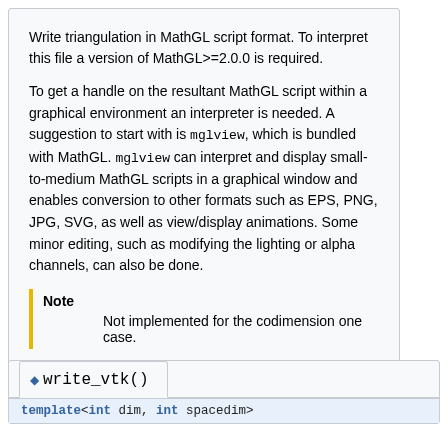Write triangulation in MathGL script format. To interpret this file a version of MathGL>=2.0.0 is required.
To get a handle on the resultant MathGL script within a graphical environment an interpreter is needed. A suggestion to start with is mglview, which is bundled with MathGL. mglview can interpret and display small-to-medium MathGL scripts in a graphical window and enables conversion to other formats such as EPS, PNG, JPG, SVG, as well as view/display animations. Some minor editing, such as modifying the lighting or alpha channels, can also be done.
Note
Not implemented for the codimension one case.
Definition at line 3022 of file grid_out.cc.
write_vtk()
template<int dim, int spacedim>